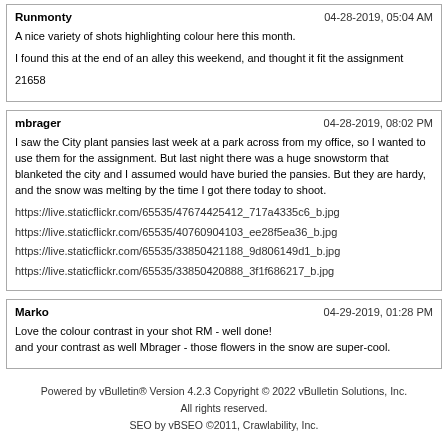Runmonty | 04-28-2019, 05:04 AM
A nice variety of shots highlighting colour here this month.
I found this at the end of an alley this weekend, and thought it fit the assignment
21658
mbrager | 04-28-2019, 08:02 PM
I saw the City plant pansies last week at a park across from my office, so I wanted to use them for the assignment. But last night there was a huge snowstorm that blanketed the city and I assumed would have buried the pansies. But they are hardy, and the snow was melting by the time I got there today to shoot.
https://live.staticflickr.com/65535/47674425412_717a4335c6_b.jpg
https://live.staticflickr.com/65535/40760904103_ee28f5ea36_b.jpg
https://live.staticflickr.com/65535/33850421188_9d806149d1_b.jpg
https://live.staticflickr.com/65535/33850420888_3f1f686217_b.jpg
Marko | 04-29-2019, 01:28 PM
Love the colour contrast in your shot RM - well done!
and your contrast as well Mbrager - those flowers in the snow are super-cool.
Powered by vBulletin® Version 4.2.3 Copyright © 2022 vBulletin Solutions, Inc. All rights reserved.
SEO by vBSEO ©2011, Crawlability, Inc.